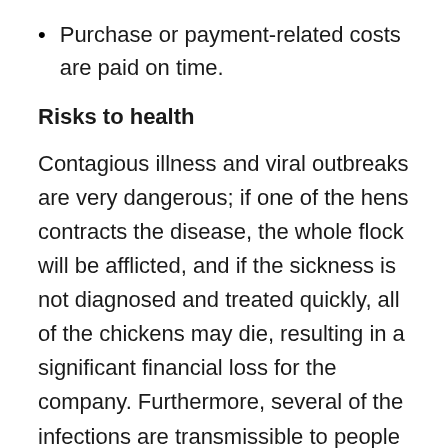Purchase or payment-related costs are paid on time.
Risks to health
Contagious illness and viral outbreaks are very dangerous; if one of the hens contracts the disease, the whole flock will be afflicted, and if the sickness is not diagnosed and treated quickly, all of the chickens may die, resulting in a significant financial loss for the company. Furthermore, several of the infections are transmissible to people as well as chickens, causing harm to both